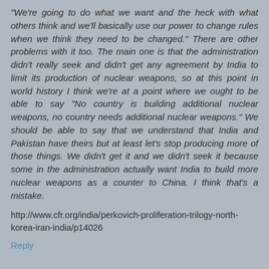“We’re going to do what we want and the heck with what others think and we’ll basically use our power to change rules when we think they need to be changed.” There are other problems with it too. The main one is that the administration didn’t really seek and didn’t get any agreement by India to limit its production of nuclear weapons, so at this point in world history I think we’re at a point where we ought to be able to say “No country is building additional nuclear weapons, no country needs additional nuclear weapons.” We should be able to say that we understand that India and Pakistan have theirs but at least let’s stop producing more of those things. We didn’t get it and we didn’t seek it because some in the administration actually want India to build more nuclear weapons as a counter to China. I think that’s a mistake.
http://www.cfr.org/india/perkovich-proliferation-trilogy-north-korea-iran-india/p14026
Reply
Ashmit (India) November 14, 2011 at 6:04 AM